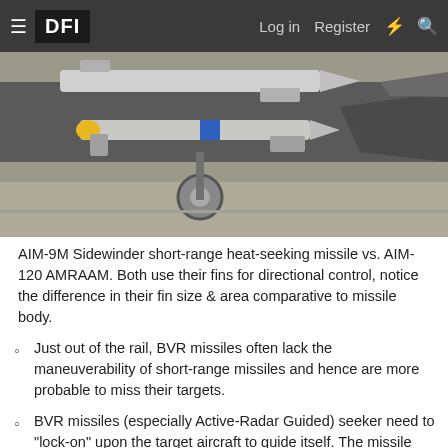DFI | Log in | Register
[Figure (photo): AIM-9M Sidewinder short-range heat-seeking missile and AIM-120 AMRAAM mounted under a fighter aircraft wing, showing fins of both missiles.]
AIM-9M Sidewinder short-range heat-seeking missile vs. AIM-120 AMRAAM. Both use their fins for directional control, notice the difference in their fin size & area comparative to missile body.
Just out of the rail, BVR missiles often lack the maneuverability of short-range missiles and hence are more probable to miss their targets.
BVR missiles (especially Active-Radar Guided) seeker need to "lock-on" upon the target aircraft to guide itself. The missile lock on target is after launch